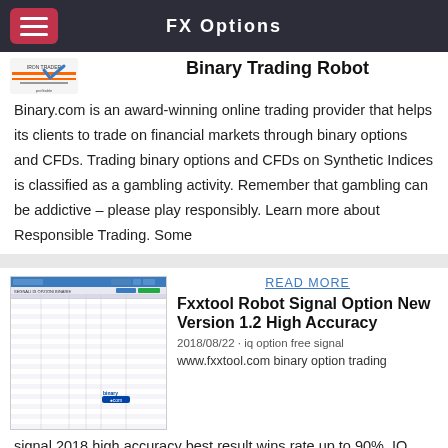FX Options
Binary Trading Robot
Binary.com is an award-winning online trading provider that helps its clients to trade on financial markets through binary options and CFDs. Trading binary options and CFDs on Synthetic Indices is classified as a gambling activity. Remember that gambling can be addictive – please play responsibly. Learn more about Responsible Trading. Some
READ MORE
Fxxtool Robot Signal Option New Version 1.2 High Accuracy
2018/08/22 · iq option free signal
www.fxxtool.com binary option trading signal 2018 high accuracy best result wins rate up to 90%. IQ OPTION POWER BOSS PRO SIGNAL MOST ACCURATE TRADING